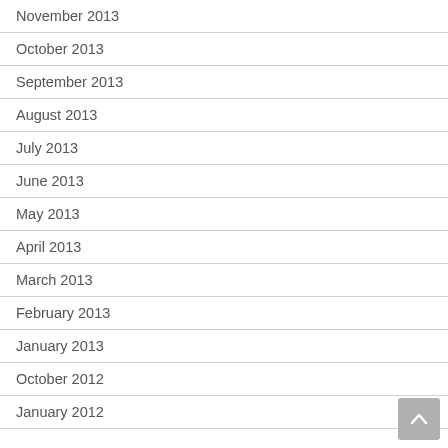November 2013
October 2013
September 2013
August 2013
July 2013
June 2013
May 2013
April 2013
March 2013
February 2013
January 2013
October 2012
January 2012